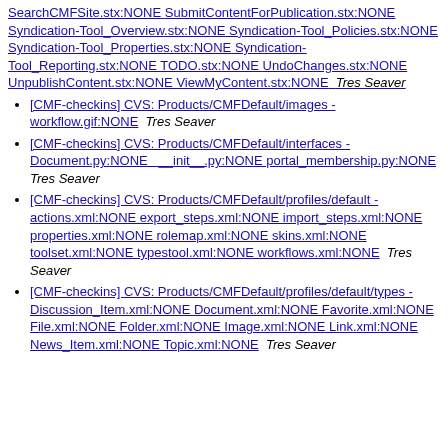SearchCMFSite.stx:NONE SubmitContentForPublication.stx:NONE Syndication-Tool_Overview.stx:NONE Syndication-Tool_Policies.stx:NONE Syndication-Tool_Properties.stx:NONE Syndication-Tool_Reporting.stx:NONE TODO.stx:NONE UndoChanges.stx:NONE UnpublishContent.stx:NONE ViewMyContent.stx:NONE  Tres Seaver
[CMF-checkins] CVS: Products/CMFDefault/images - workflow.gif:NONE  Tres Seaver
[CMF-checkins] CVS: Products/CMFDefault/interfaces - Document.py:NONE __init__.py:NONE portal_membership.py:NONE  Tres Seaver
[CMF-checkins] CVS: Products/CMFDefault/profiles/default - actions.xml:NONE export_steps.xml:NONE import_steps.xml:NONE properties.xml:NONE rolemap.xml:NONE skins.xml:NONE toolset.xml:NONE typestool.xml:NONE workflows.xml:NONE  Tres Seaver
[CMF-checkins] CVS: Products/CMFDefault/profiles/default/types - Discussion_Item.xml:NONE Document.xml:NONE Favorite.xml:NONE File.xml:NONE Folder.xml:NONE Image.xml:NONE Link.xml:NONE News_Item.xml:NONE Topic.xml:NONE  Tres Seaver